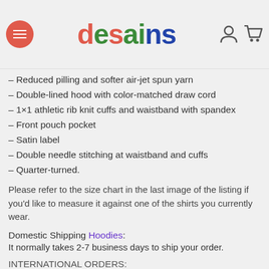desains — Features Native American Adidas Hoodie: 8.0 oz, 50/50 ... poly/25...
Features Native American Adidas Hoodie:
– Reduced pilling and softer air-jet spun yarn
– Double-lined hood with color-matched draw cord
– 1×1 athletic rib knit cuffs and waistband with spandex
– Front pouch pocket
– Satin label
– Double needle stitching at waistband and cuffs
– Quarter-turned.
Please refer to the size chart in the last image of the listing if you'd like to measure it against one of the shirts you currently wear.
Domestic Shipping Hoodies: It normally takes 2-7 business days to ship your order.
INTERNATIONAL ORDERS: